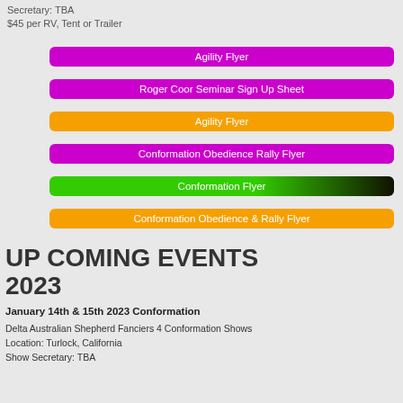Secretary: TBA
$45 per RV, Tent or Trailer
Agility Flyer
Roger Coor Seminar Sign Up Sheet
Agility Flyer
Conformation Obedience Rally Flyer
Conformation Flyer
Conformation Obedience & Rally Flyer
UP COMING EVENTS 2023
January 14th & 15th 2023 Conformation
Delta Australian Shepherd Fanciers 4 Conformation Shows
Location: Turlock, California
Show Secretary: TBA